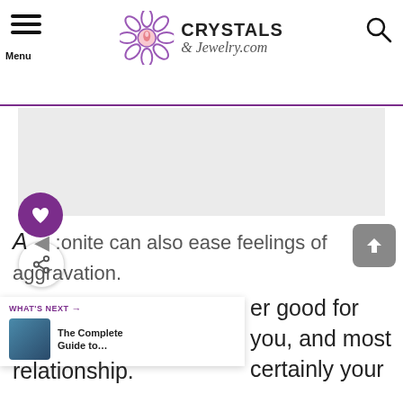Menu | CRYSTALS & Jewelry.com
[Figure (other): Large image area placeholder (light gray background)]
A …onite can also ease feelings of aggravation.
WHAT'S NEXT → The Complete Guide to…
…er good for you, and most certainly your relationship.